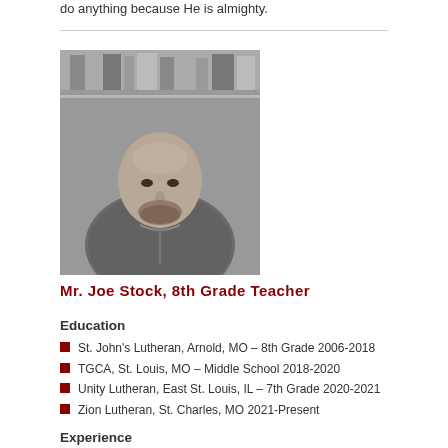do anything because He is almighty.
[Figure (photo): Black and white portrait photo of Mr. Joe Stock, a bald man with a beard wearing a grey sweater, standing in front of bookshelves.]
Mr. Joe Stock, 8th Grade Teacher
Education
St. John's Lutheran, Arnold, MO – 8th Grade 2006-2018
TGCA, St. Louis, MO – Middle School 2018-2020
Unity Lutheran, East St. Louis, IL – 7th Grade 2020-2021
Zion Lutheran, St. Charles, MO 2021-Present
Experience